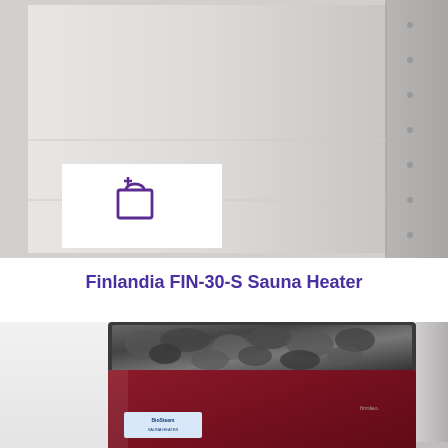[Figure (photo): Close-up photo of a Finlandia FIN-30-S sauna heater unit, showing a light grey metal cabinet with riveted right side panel. A white overlay box with a purple add-to-cart shopping bag icon is visible in the lower-left of the image.]
Finlandia FIN-30-S Sauna Heater
[Figure (photo): Partial photo of a dark maroon/burgundy colored sauna heater (electric stove) with dark volcanic rocks loaded on top. A manufacturer's label sticker is visible on the front. The heater has a metallic vent strip on the right side.]